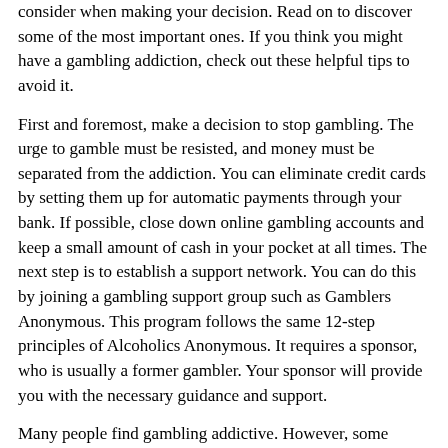consider when making your decision. Read on to discover some of the most important ones. If you think you might have a gambling addiction, check out these helpful tips to avoid it.
First and foremost, make a decision to stop gambling. The urge to gamble must be resisted, and money must be separated from the addiction. You can eliminate credit cards by setting them up for automatic payments through your bank. If possible, close down online gambling accounts and keep a small amount of cash in your pocket at all times. The next step is to establish a support network. You can do this by joining a gambling support group such as Gamblers Anonymous. This program follows the same 12-step principles of Alcoholics Anonymous. It requires a sponsor, who is usually a former gambler. Your sponsor will provide you with the necessary guidance and support.
Many people find gambling addictive. However, some people cannot control themselves. In these cases, gambling becomes a problem and it can be hard to break the addiction. Gambling is a common form of entertainment and can be extremely